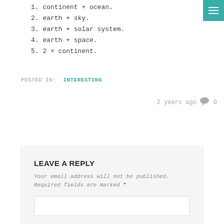1. continent + ocean.
2. earth + sky.
3. earth + solar system.
4. earth + space.
5. 2 × continent.
POSTED IN: INTERESTING
2 years ago  💬 0
LEAVE A REPLY
Your email address will not be published. Required fields are marked *